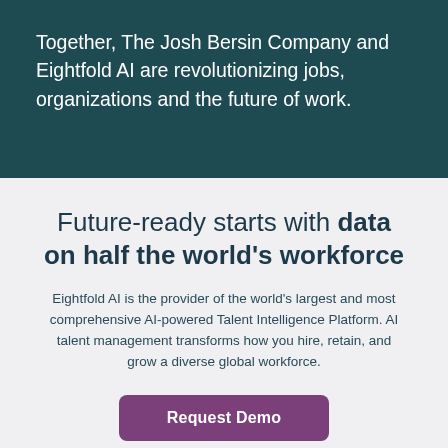Together, The Josh Bersin Company and Eightfold AI are revolutionizing jobs, organizations and the future of work.
Future-ready starts with data on half the world's workforce
Eightfold AI is the provider of the world's largest and most comprehensive AI-powered Talent Intelligence Platform. AI talent management transforms how you hire, retain, and grow a diverse global workforce.
Request Demo